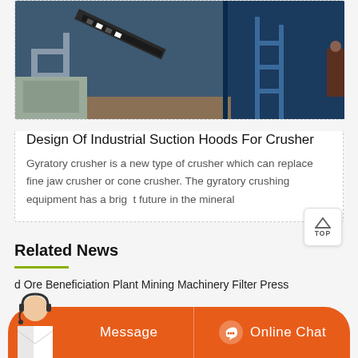[Figure (photo): Industrial crusher/mining machinery equipment photo showing metal scaffolding, conveyor belts and heavy equipment on a job site]
Design Of Industrial Suction Hoods For Crusher
Gyratory crusher is a new type of crusher which can replace fine jaw crusher or cone crusher. The gyratory crushing equipment has a bright future in the mineral
Related News
d Ore Beneficiation Plant Mining Machinery Filter Press